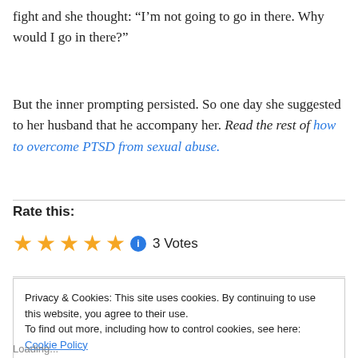fight and she thought: “I’m not going to go in there. Why would I go in there?”
But the inner prompting persisted. So one day she suggested to her husband that he accompany her. Read the rest of how to overcome PTSD from sexual abuse.
Rate this:
★★★★★ 3 Votes
Privacy & Cookies: This site uses cookies. By continuing to use this website, you agree to their use. To find out more, including how to control cookies, see here: Cookie Policy
Close and accept
Loading...